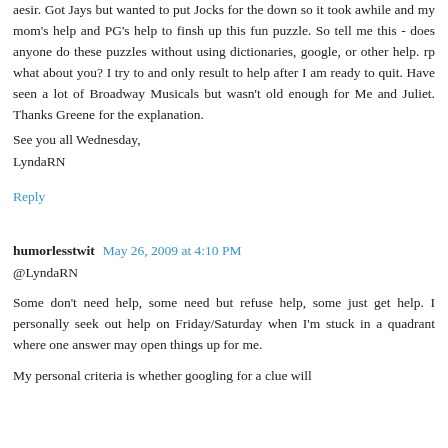aesir. Got Jays but wanted to put Jocks for the down so it took awhile and my mom's help and PG's help to finsh up this fun puzzle. So tell me this - does anyone do these puzzles without using dictionaries, google, or other help. rp what about you? I try to and only result to help after I am ready to quit. Have seen a lot of Broadway Musicals but wasn't old enough for Me and Juliet. Thanks Greene for the explanation.
See you all Wednesday,
LyndaRN
Reply
humorlesstwit  May 26, 2009 at 4:10 PM
@LyndaRN
Some don't need help, some need but refuse help, some just get help. I personally seek out help on Friday/Saturday when I'm stuck in a quadrant where one answer may open things up for me.
My personal criteria is whether googling for a clue will